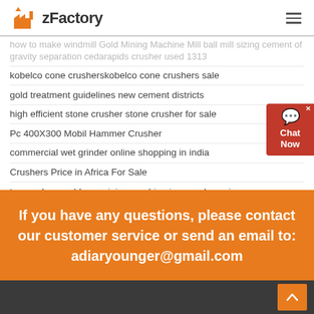zFactory
how to make windmill Gold Mining Machine Mill ball mill sizing cement of gravity separation cedarapids crusher used 1313
kobelco cone crusherskobelco cone crushers sale
gold treatment guidelines new cement districts
high efficient stone crusher stone crusher for sale
Pc 400X300 Mobil Hammer Crusher
commercial wet grinder online shopping in india
Crushers Price in Africa For Sale
ton per hour gold ore mining machine jaw crusher price
transportation belt conveyor belt rough top conveyor belt
price single cylinder hydraulic cone crusher
If you have any questions, please contact our customer service or send an email to: adiaryounger@gmail.com